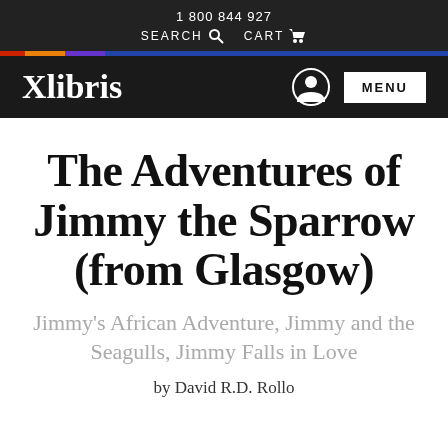1 800 844 927
SEARCH   CART
Xlibris
The Adventures of Jimmy the Sparrow (from Glasgow)
Jimmy's African Adventure, Jimmy and the Seagulls, Jimmy Falls in Love
by David R.D. Rollo